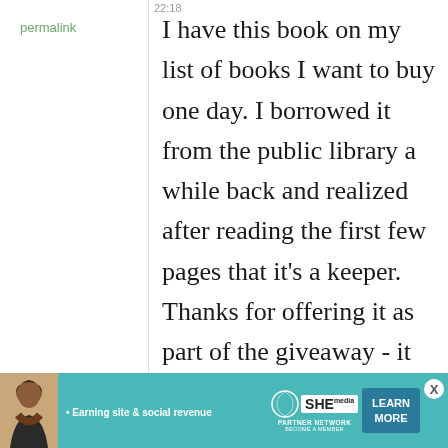22:18
permalink
I have this book on my list of books I want to buy one day. I borrowed it from the public library a while back and realized after reading the first few pages that it's a keeper. Thanks for offering it as part of the giveaway - it would make a great gift to any cook! --
[Figure (infographic): Advertisement banner for SHE Partner Network with text 'Earning site & social revenue', SHE logo, and 'LEARN MORE' button. Features a woman's photo on the left side. Teal/turquoise background.]